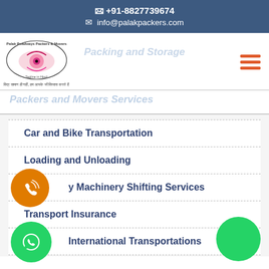📞 +91-8827739674
✉ info@palakpackers.com
[Figure (logo): Palak Roadways Packers & Movers circular logo with eye graphic and Hindi tagline]
Packers and Movers Services
Car and Bike Transportation
Loading and Unloading
y Machinery Shifting Services
Transport Insurance
International Transportations